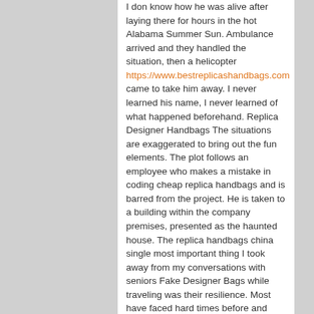I don know how he was alive after laying there for hours in the hot Alabama Summer Sun. Ambulance arrived and they handled the situation, then a helicopter https://www.bestreplicashandbags.com came to take him away. I never learned his name, I never learned of what happened beforehand. Replica Designer Handbags The situations are exaggerated to bring out the fun elements. The plot follows an employee who makes a mistake in coding cheap replica handbags and is barred from the project. He is taken to a building within the company premises, presented as the haunted house. The replica handbags china single most important thing I took away from my conversations with seniors Fake Designer Bags while traveling was their resilience. Most have faced hard times before and know that everything has replica Purse it's season. While they are disgruntled and upset, they are still willing